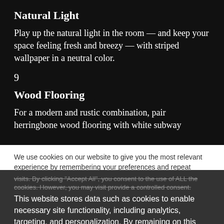Natural Light
Play up the natural light in the room — and keep your space feeling fresh and breezy — with striped wallpaper in a neutral color.
9
Wood Flooring
For a modern and rustic combination, pair herringbone wood flooring with white subway
We use cookies on our website to give you the most relevant experience by remembering your preferences and repeat
visits. By clicking "Accept All", you consent to the use of ALL the cookies. However, you may visit "Cookie Settings" to provide a controlled consent.
This website stores data such as cookies to enable necessary site functionality, including analytics, targeting, and personalization. By remaining on this website you indicate your consent Cookie Policy ✕